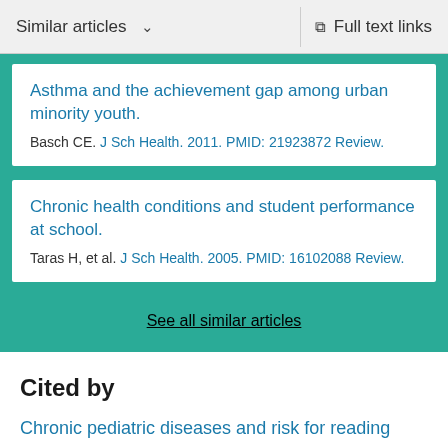Similar articles  ∨   Full text links
Asthma and the achievement gap among urban minority youth.
Basch CE. J Sch Health. 2011. PMID: 21923872 Review.
Chronic health conditions and student performance at school.
Taras H, et al. J Sch Health. 2005. PMID: 16102088 Review.
See all similar articles
Cited by
Chronic pediatric diseases and risk for reading